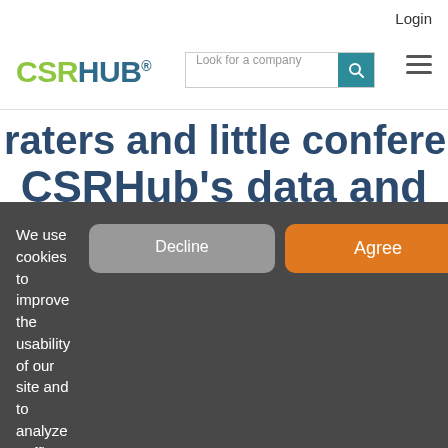Login
[Figure (logo): CSRHUB logo with green CSR and teal HUB text, registered trademark symbol]
[Figure (screenshot): Search bar with placeholder 'Look for a company' and teal search button, plus hamburger menu icon]
raters and little conference. CSRHub's data and tools solve these problems.
We use cookies to improve the usability of our site and to analyze traffic patterns so we can improve our utility. Please agree to our use of cookies.
Decline
Agree